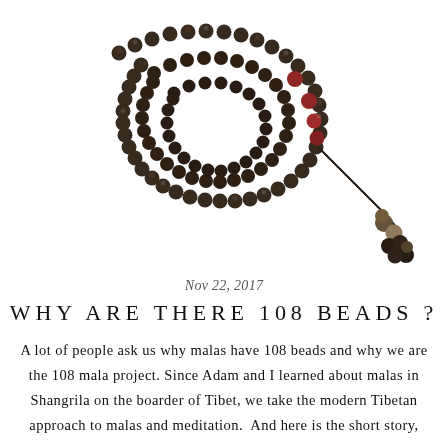[Figure (photo): A coiled mala/prayer bead necklace with dark brown/black beads, red accent beads, and a tassel with wooden beads at the end, photographed on a white background.]
Nov 22, 2017
WHY ARE THERE 108 BEADS ?
A lot of people ask us why malas have 108 beads and why we are the 108 mala project. Since Adam and I learned about malas in Shangrila on the boarder of Tibet, we take the modern Tibetan approach to malas and meditation. And here is the short story,